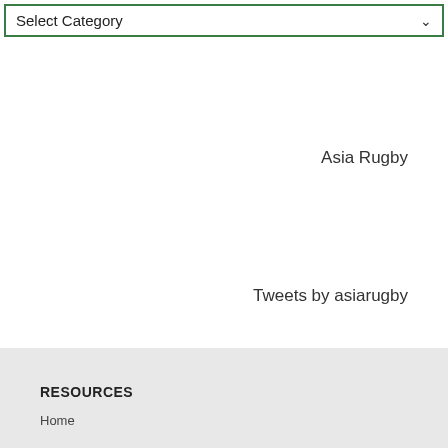[Figure (screenshot): Dropdown selector with green border labeled 'Select Category' with a down arrow]
Asia Rugby
Tweets by asiarugby
RESOURCES
Home